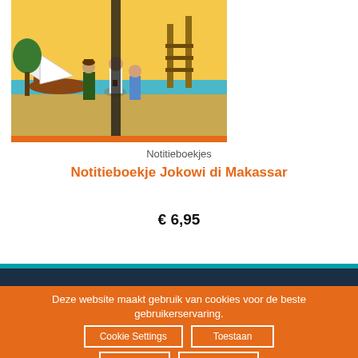[Figure (illustration): Illustrated book cover showing three men near a harbor with a sailboat, wooden dock structures, and a colorful tropical scene. A dark vertical stripe runs through the middle of the image.]
Notitieboekjes
Notitieboekje Jokowi di Makassar
€ 6,95
Deze website maakt gebruik van cookies voor de beste gebruikerservaring.
Cookie Settings
Toestaan
Afwijzen
Lees meer